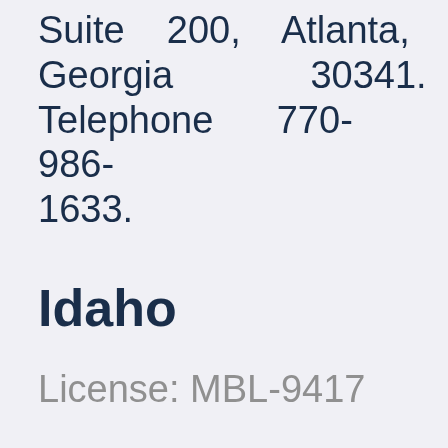Suite 200, Atlanta, Georgia 30341. Telephone 770-986-1633.
Idaho
License: MBL-9417